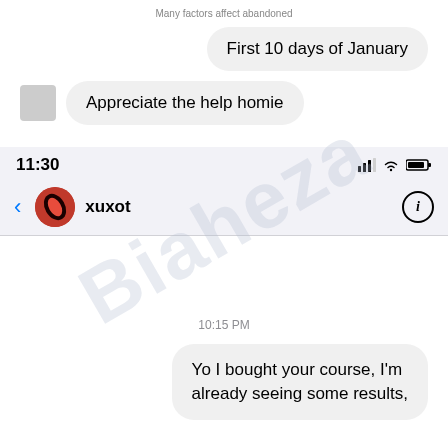Many factors affect abandoned
First 10 days of January
Appreciate the help homie
[Figure (screenshot): Mobile phone status bar showing time 11:30 with signal, wifi, and battery icons, and a chat header with back arrow, red profile icon, username 'xuxot', and info button]
10:15 PM
Yo I bought your course, I'm already seeing some results,